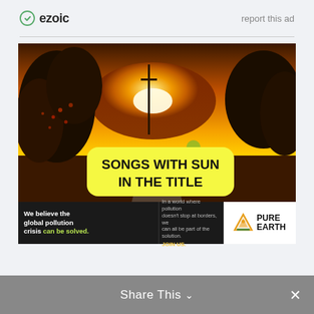ezoic  report this ad
[Figure (photo): Sunset scene with silhouetted trees and a road, with a yellow badge overlay reading 'SONGS WITH SUN IN THE TITLE']
[Figure (infographic): Pure Earth ad banner: 'We believe the global pollution crisis can be solved. In a world where pollution doesn't stop at borders, we can all be part of the solution. JOIN US.' with Pure Earth logo]
Share This  ∨  ×